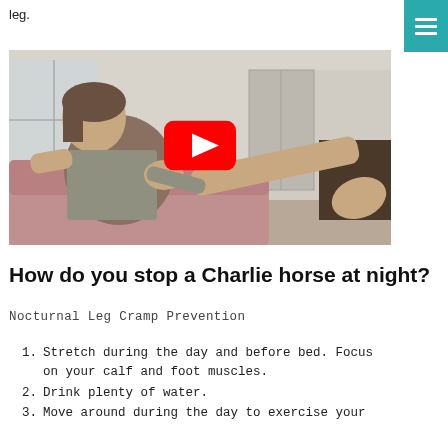leg.
[Figure (screenshot): YouTube video thumbnail showing a person sitting on a couch demonstrating a leg/foot stretch, with a red YouTube play button overlay in the center.]
How do you stop a Charlie horse at night?
Nocturnal Leg Cramp Prevention
Stretch during the day and before bed. Focus on your calf and foot muscles.
Drink plenty of water.
Move around during the day to exercise your